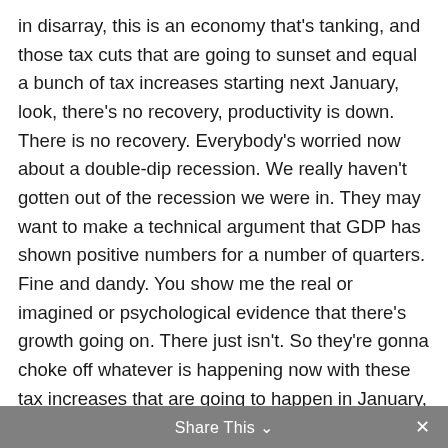in disarray, this is an economy that's tanking, and those tax cuts that are going to sunset and equal a bunch of tax increases starting next January, look, there's no recovery, productivity is down. There is no recovery. Everybody's worried now about a double-dip recession. We really haven't gotten out of the recession we were in. They may want to make a technical argument that GDP has shown positive numbers for a number of quarters. Fine and dandy. You show me the real or imagined or psychological evidence that there's growth going on. There just isn't. So they're gonna choke off whatever is happening now with these tax increases that are going to happen in January, and I just submit to you that there's nobody in their right mind who would suggest this is going to grow anything but the government, and government growth does not equal a growing, thriving United States economy or country. The government growing is the antithesis of that. As the government grows and the private sector shrinks then we've got big problems, and that is the trend.
Share This ∨